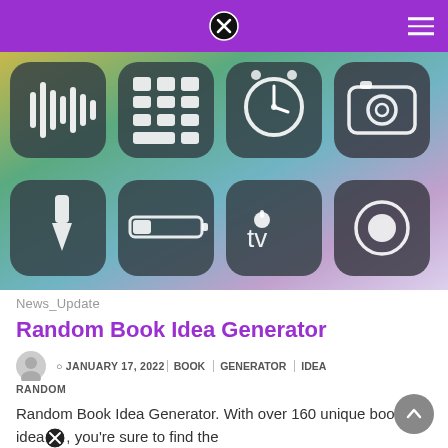[Figure (screenshot): iOS control center screenshot showing 8 app icons in a 4x2 grid: voice memos, calculator, clock/alarm, camera (top row); flashlight, battery, Apple TV, screen recording (bottom row). Background has a colorful gradient.]
News_Update
Random Book Idea Generator
JANUARY 17, 2022   BOOK   GENERATOR   IDEA   RANDOM
Random Book Idea Generator. With over 160 unique book title idea, you're sure to find the